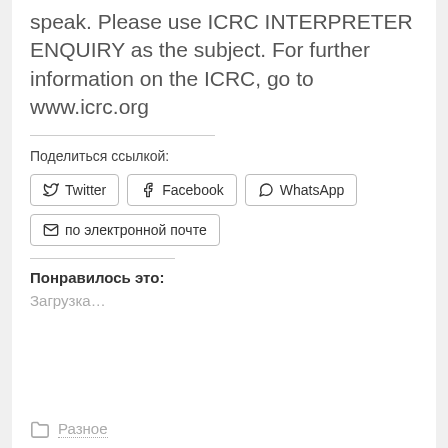speak. Please use ICRC INTERPRETER ENQUIRY as the subject. For further information on the ICRC, go to www.icrc.org
Поделиться ссылкой:
[Figure (infographic): Social sharing buttons: Twitter, Facebook, WhatsApp, по электронной почте]
Понравилось это:
Загрузка...
Разное